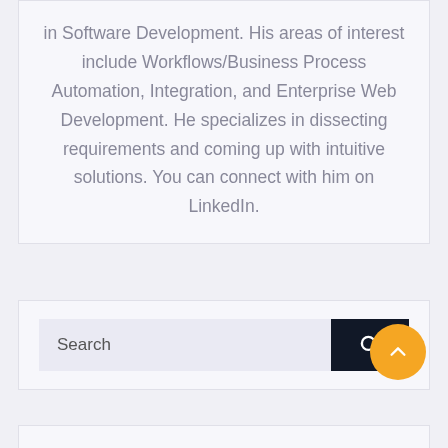in Software Development. His areas of interest include Workflows/Business Process Automation, Integration, and Enterprise Web Development. He specializes in dissecting requirements and coming up with intuitive solutions. You can connect with him on LinkedIn.
[Figure (screenshot): Search bar with dark button containing a magnifying glass icon]